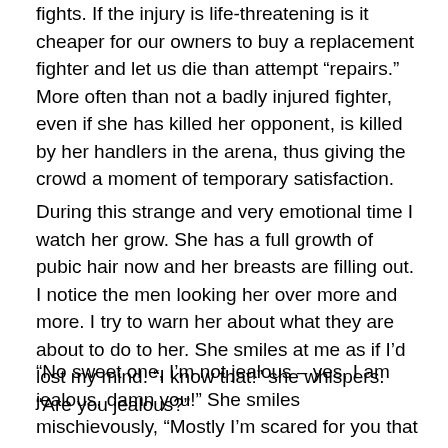fights.  If the injury is life-threatening is it cheaper for our owners to buy a replacement fighter and let us die than attempt “repairs.”  More often than not a badly injured fighter, even if she has killed her opponent, is killed by her handlers in the arena, thus giving the crowd a moment of temporary satisfaction.
During this strange and very emotional time I watch her grow.  She has a full growth of pubic hair now and her breasts are filling out.  I notice the men looking her over more and more.  I try to warn her about what they are about to do to her.  She smiles at me as if I’d lost my mind.  “I know that!” she whispers.  “Are you jealous?”
“No sweet one, I’m not jealous – yes, I am jealous, damn you!”  She smiles mischievously, “Mostly I’m scared for you that you may do something unacceptable and be